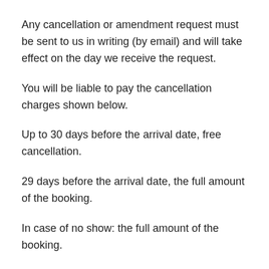Any cancellation or amendment request must be sent to us in writing (by email) and will take effect on the day we receive the request.
You will be liable to pay the cancellation charges shown below.
Up to 30 days before the arrival date, free cancellation.
29 days before the arrival date, the full amount of the booking.
In case of no show: the full amount of the booking.